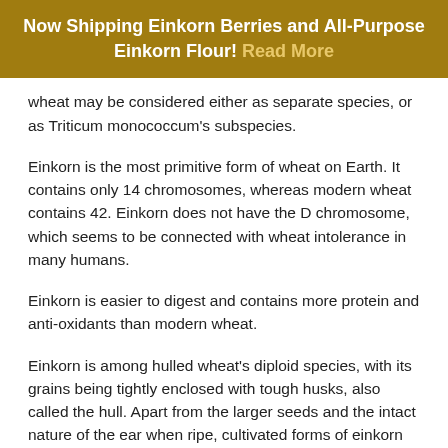Now Shipping Einkorn Berries and All-Purpose Einkorn Flour! Read More
wheat may be considered either as separate species, or as Triticum monococcum's subspecies.
Einkorn is the most primitive form of wheat on Earth. It contains only 14 chromosomes, whereas modern wheat contains 42. Einkorn does not have the D chromosome, which seems to be connected with wheat intolerance in many humans.
Einkorn is easier to digest and contains more protein and anti-oxidants than modern wheat.
Einkorn is among hulled wheat's diploid species, with its grains being tightly enclosed with tough husks, also called the hull. Apart from the larger seeds and the intact nature of the ear when ripe, cultivated forms of einkorn wheat are similar